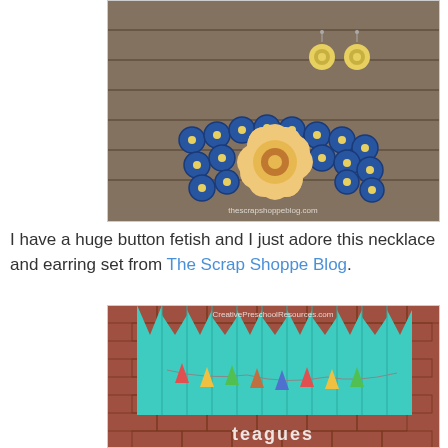[Figure (photo): Photo of a blue button necklace bracelet and yellow flower earrings on wooden planks. Watermark reads 'thescrapshoppeblog.com']
I have a huge button fetish and I just adore this necklace and earring set from The Scrap Shoppe Blog.
[Figure (photo): Photo of a teal/turquoise painted wooden fence or board with pennant banner bunting and brick wall background. Watermark reads 'CreativePreschoolResources.com'. Text at bottom reads 'teagues'.]